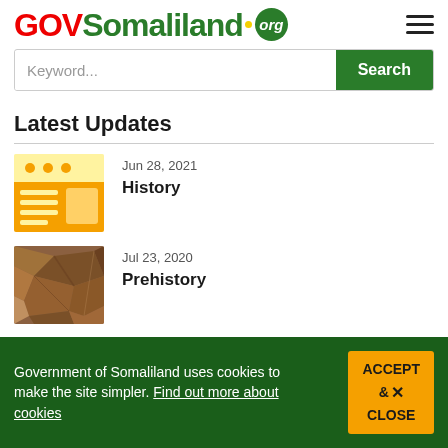GOVSomaliland.org
Keyword... Search
Latest Updates
Jun 28, 2021
History
Jul 23, 2020
Prehistory
Government of Somaliland uses cookies to make the site simpler. Find out more about cookies
ACCEPT & CLOSE